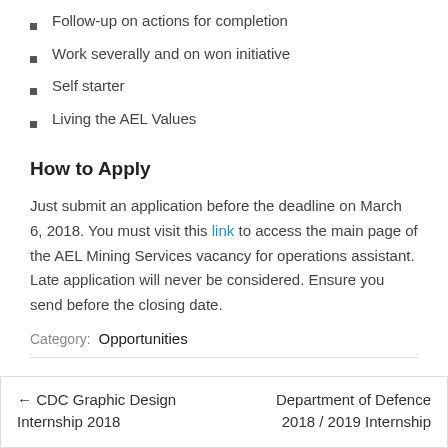Follow-up on actions for completion
Work severally and on won initiative
Self starter
Living the AEL Values
How to Apply
Just submit an application before the deadline on March 6, 2018. You must visit this link to access the main page of the AEL Mining Services vacancy for operations assistant. Late application will never be considered. Ensure you send before the closing date.
Category:  Opportunities
← CDC Graphic Design Internship 2018
Department of Defence 2018 / 2019 Internship